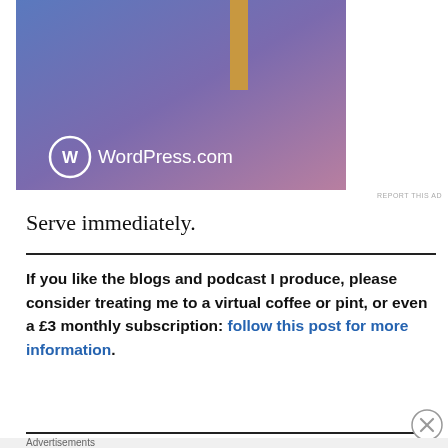[Figure (illustration): WordPress.com advertisement banner with blue-purple-pink gradient background, a tan/gold vertical bar at top center, and WordPress.com logo with circle W icon in white text at bottom left]
REPORT THIS AD
Serve immediately.
If you like the blogs and podcast I produce, please consider treating me to a virtual coffee or pint, or even a £3 monthly subscription: follow this post for more information.
[Figure (illustration): Macy's advertisement: KISS BORING LIPS GOODBYE with SHOP NOW button, showing woman's face with red lips]
REPORT THIS AD